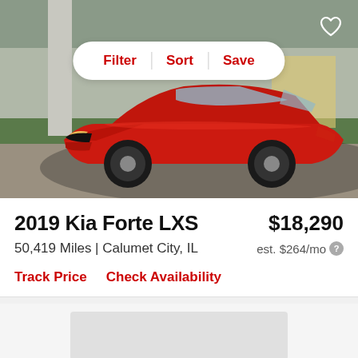[Figure (photo): Red 2019 Kia Forte LXS sedan parked on a paved surface with green hedges and a building in the background. A Filter/Sort/Save toolbar appears overlaid at the top center, and a heart/favorite icon is at top right.]
2019 Kia Forte LXS
$18,290
50,419 Miles | Calumet City, IL
est. $264/mo
Track Price   Check Availability